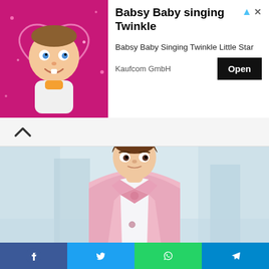[Figure (screenshot): Advertisement banner showing animated baby character on pink/magenta background with text 'Babsy Baby singing Twinkle', subtitle 'Babsy Baby Singing Twinkle Little Star', provider 'Kaufcom GmbH', and an 'Open' button]
[Figure (photo): Young boy wearing a pink blazer suit with a pink bow tie and white dress shirt, with short brown hair, photographed against a blurred light blue/grey background]
[Figure (infographic): Social media share bar at the bottom with Facebook (blue), Twitter (light blue), WhatsApp (green), and Telegram (blue) buttons with their respective icons]